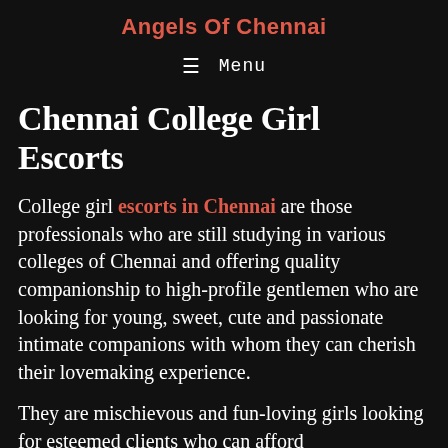Angels Of Chennai
≡ Menu
Chennai College Girl Escorts
College girl escorts in Chennai are those professionals who are still studying in various colleges of Chennai and offering quality companionship to high-profile gentlemen who are looking for young, sweet, cute and passionate intimate companions with whom they can cherish their lovemaking experience.
They are mischievous and fun-loving girls looking for esteemed clients who can afford